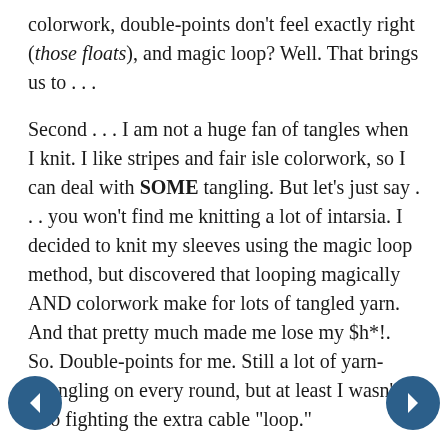colorwork, double-points don't feel exactly right (those floats), and magic loop? Well. That brings us to . . .
Second . . . I am not a huge fan of tangles when I knit. I like stripes and fair isle colorwork, so I can deal with SOME tangling. But let's just say . . . you won't find me knitting a lot of intarsia. I decided to knit my sleeves using the magic loop method, but discovered that looping magically AND colorwork make for lots of tangled yarn. And that pretty much made me lose my $h*!. So. Double-points for me. Still a lot of yarn-wrangling on every round, but at least I wasn't also fighting the extra cable "loop."
Third . . . You may remember that I'm already not terribly fond of knitting the sleeves in the round on top-down sweaters. All that twisting and